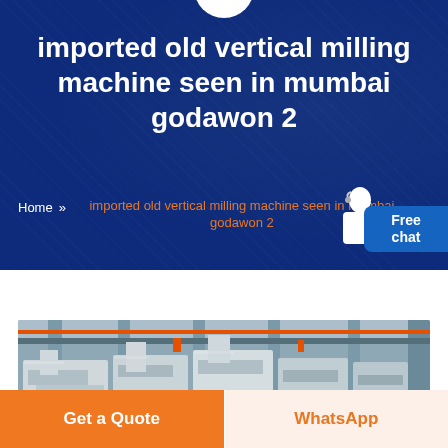imported old vertical milling machine seen in mumbai godawon 2
Home » imported old vertical milling machine seen in mumbai godawon 2
[Figure (photo): Industrial vertical milling machines in a large warehouse/factory floor, with tall structural columns and overhead cranes visible]
Get a Quote
WhatsApp